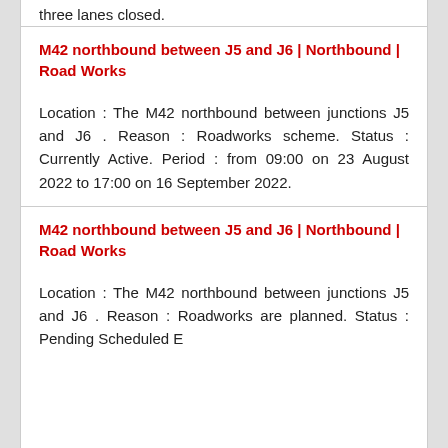three lanes closed.
M42 northbound between J5 and J6 | Northbound | Road Works
Location : The M42 northbound between junctions J5 and J6 . Reason : Roadworks scheme. Status : Currently Active. Period : from 09:00 on 23 August 2022 to 17:00 on 16 September 2022.
M42 northbound between J5 and J6 | Northbound | Road Works
Location : The M42 northbound between junctions J5 and J6 . Reason : Roadworks are planned. Status : Pending Scheduled E...